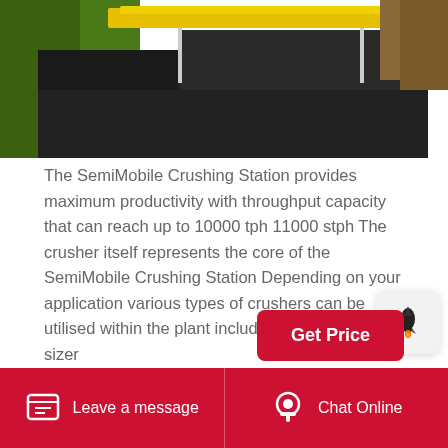[Figure (photo): SemiMobile Crushing Station machinery with yellow bar and dark coal/material in background]
The SemiMobile Crushing Station provides maximum productivity with throughput capacity that can reach up to 10000 tph 11000 stph The crusher itself represents the core of the SemiMobile Crushing Station Depending on your application various types of crushers can be utilised within the plant including the sizer hybrid sizer
Cone Crusher At Best Price In India
Leave a message   Chat Online